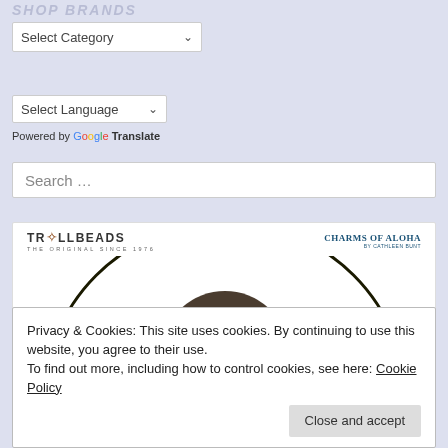SHOP BRANDS
[Figure (screenshot): Select Category dropdown UI element]
[Figure (screenshot): Select Language dropdown with Google Translate branding]
Powered by Google Translate
[Figure (screenshot): Search input box with placeholder text: Search ...]
[Figure (screenshot): Banner showing Trollbeads and Charms of Aloha logos with a circular arc and red dog silhouette graphic]
Privacy & Cookies: This site uses cookies. By continuing to use this website, you agree to their use.
To find out more, including how to control cookies, see here: Cookie Policy